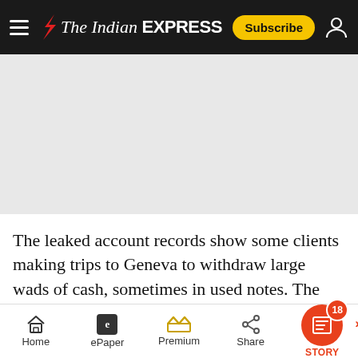The Indian EXPRESS
[Figure (other): Advertisement placeholder area (light grey rectangle)]
The leaked account records show some clients making trips to Geneva to withdraw large wads of cash, sometimes in used notes. The files also document huge sums of money controlled b…
Home | ePaper | Premium | Share | STORY